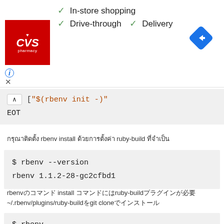[Figure (screenshot): CVS Pharmacy advertisement banner with green checkmarks for In-store shopping, Drive-through, and Delivery services, with a blue navigation/directions icon on the right]
[ "$(rbenv init -)"
EOT
日本語テキスト（Thai/Japanese characters）
$ rbenv --version
rbenv 1.1.2-28-gc2cfbd1
rbenv（コマンド） install （コマンド）ruby-build（プラグイン）
~/.rbenv/plugins/ruby-build（git clone）コマンド
$ rbenv
rbenv 1.1.2-28-gc2cfbd1